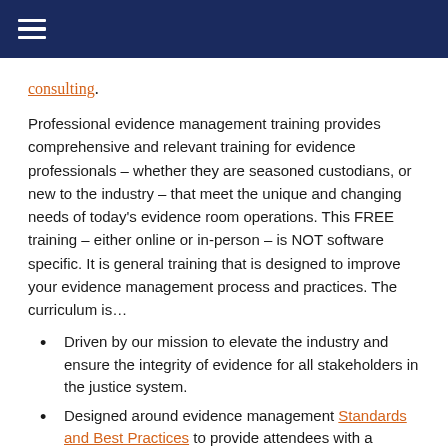consulting.
Professional evidence management training provides comprehensive and relevant training for evidence professionals – whether they are seasoned custodians, or new to the industry – that meet the unique and changing needs of today's evidence room operations. This FREE training – either online or in-person – is NOT software specific. It is general training that is designed to improve your evidence management process and practices. The curriculum is…
Driven by our mission to elevate the industry and ensure the integrity of evidence for all stakeholders in the justice system.
Designed around evidence management Standards and Best Practices to provide attendees with a